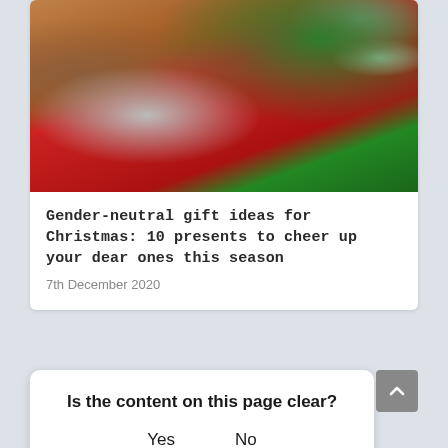[Figure (photo): A couple exchanging Christmas gifts in front of a decorated Christmas tree. One person wears brown, the other wears red.]
Gender-neutral gift ideas for Christmas: 10 presents to cheer up your dear ones this season
7th December 2020
Is the content on this page clear?
Yes    No